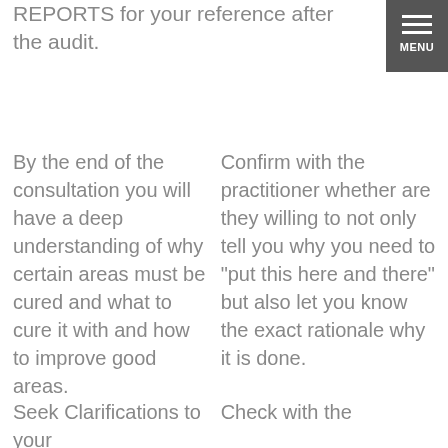REPORTS for your reference after the audit.
[Figure (other): Menu button with three horizontal lines and MENU label, dark gray background]
By the end of the consultation you will have a deep understanding of why certain areas must be cured and what to cure it with and how to improve good areas.
Confirm with the practitioner whether are they willing to not only tell you why you need to "put this here and there" but also let you know the exact rationale why it is done.
Seek Clarifications to your
Check with the